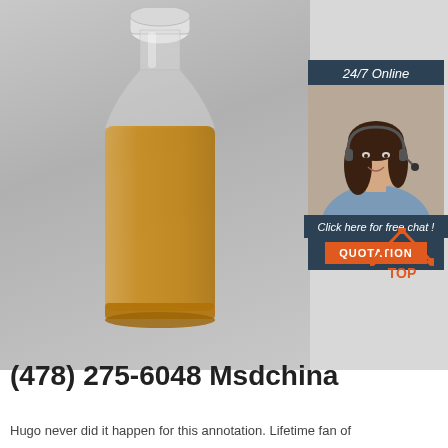[Figure (photo): A glass apothecary-style bottle filled with an amber/golden liquid, photographed on a light gray background. Overlaid in the top-right corner is a customer-service chat widget with '24/7 Online' heading, a photo of a smiling woman with a headset, 'Click here for free chat!' text, and an orange 'QUOTATION' button. Bottom-right shows an orange 'TOP' navigation icon.]
(478) 275-6048 Msdchina
Hugo never did it happen for this annotation. Lifetime fan of